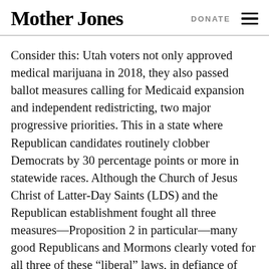Mother Jones | DONATE
Consider this: Utah voters not only approved medical marijuana in 2018, they also passed ballot measures calling for Medicaid expansion and independent redistricting, two major progressive priorities. This in a state where Republican candidates routinely clobber Democrats by 30 percentage points or more in statewide races. Although the Church of Jesus Christ of Latter-Day Saints (LDS) and the Republican establishment fought all three measures—Proposition 2 in particular—many good Republicans and Mormons clearly voted for all three of these “liberal” laws, in defiance of church and party.